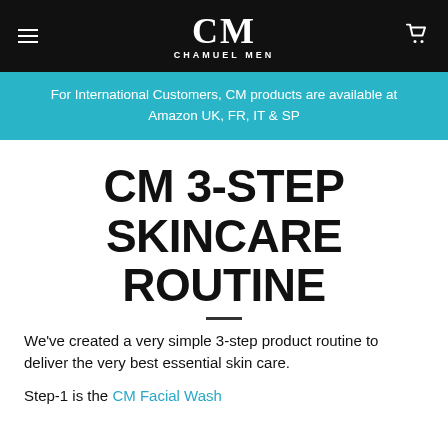CM CHAMUEL MEN
For International Customers, CM products are available at Amazon UK, FR, IT & SP
CM 3-STEP SKINCARE ROUTINE
We've created a very simple 3-step product routine to deliver the very best essential skin care.
Step-1 is the CM Facial Wash